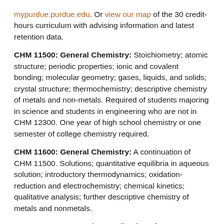mypurdue.purdue.edu. Or view our map of the 30 credit-hours curriculum with advising information and latest retention data.
CHM 11500: General Chemistry: Stoichiometry; atomic structure; periodic properties; ionic and covalent bonding; molecular geometry; gases, liquids, and solids; crystal structure; thermochemistry; descriptive chemistry of metals and non-metals. Required of students majoring in science and students in engineering who are not in CHM 12300. One year of high school chemistry or one semester of college chemistry required.
CHM 11600: General Chemistry: A continuation of CHM 11500. Solutions; quantitative equilibria in aqueous solution; introductory thermodynamics; oxidation-reduction and electrochemistry; chemical kinetics; qualitative analysis; further descriptive chemistry of metals and nonmetals.
CS 15000: Programming Applications for...